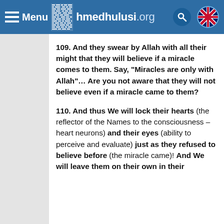Menu ahmedhulusi.org
109. And they swear by Allah with all their might that they will believe if a miracle comes to them. Say, “Miracles are only with Allah”… Are you not aware that they will not believe even if a miracle came to them?
110. And thus We will lock their hearts (the reflector of the Names to the consciousness – heart neurons) and their eyes (ability to perceive and evaluate) just as they refused to believe before (the miracle came)! And We will leave them on their own in their